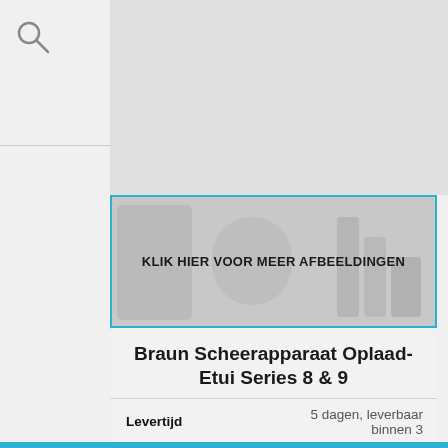[Figure (screenshot): Search icon (magnifying glass) in top-left sidebar area]
[Figure (photo): Product image banner showing Braun shavers and other devices with text overlay 'KLIK HIER VOOR MEER AFBEELDINGEN']
Braun Scheerapparaat Oplaad-Etui Series 8 & 9
| Levertijd | 5 dagen, leverbaar binnen 3 |
| Merk | Braun |
| Verkoper | alternate |